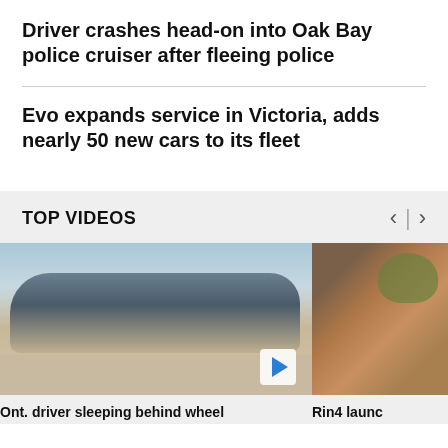Driver crashes head-on into Oak Bay police cruiser after fleeing police
Evo expands service in Victoria, adds nearly 50 new cars to its fleet
TOP VIDEOS
[Figure (photo): Car driving on road, side view of a light-colored sedan]
[Figure (photo): Food items on a plate, appears to be baked goods or pastries with greens]
Ont. driver sleeping behind wheel
Rin4 launch